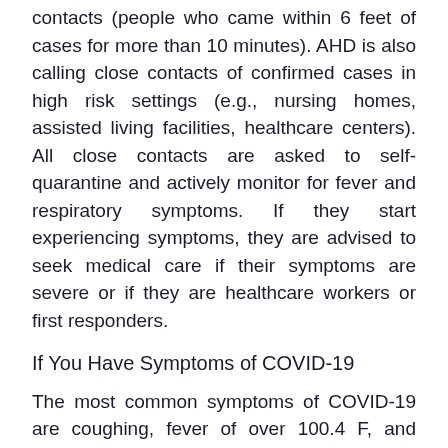contacts (people who came within 6 feet of cases for more than 10 minutes). AHD is also calling close contacts of confirmed cases in high risk settings (e.g., nursing homes, assisted living facilities, healthcare centers). All close contacts are asked to self-quarantine and actively monitor for fever and respiratory symptoms. If they start experiencing symptoms, they are advised to seek medical care if their symptoms are severe or if they are healthcare workers or first responders.
If You Have Symptoms of COVID-19
The most common symptoms of COVID-19 are coughing, fever of over 100.4 F, and shortness of breath. Use the CDC's Coronavirus Self-Checker to review your symptoms. If you are concerned you may have COVID-19, call your healthcare provider to ask whether you should come for an exam or test before